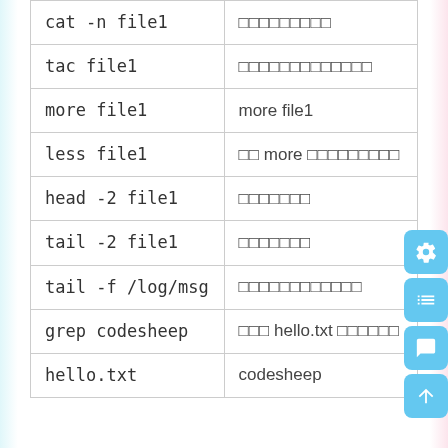| Command | Description |
| --- | --- |
| cat -n file1 | （显示行号） |
| tac file1 | （反向显示内容） |
| more file1 | more file1 |
| less file1 | 比 more 更好用 |
| head -2 file1 | 显示头部 |
| tail -2 file1 | 显示尾部 |
| tail -f /log/msg | （动态监控日志） |
| grep codesheep hello.txt | 在 hello.txt 中搜索 |
| hello.txt | codesheep |